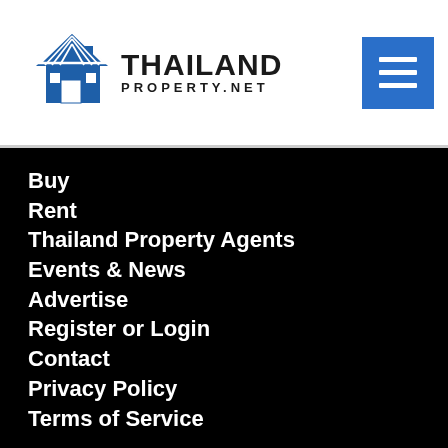[Figure (logo): Thailand Property.NET logo with house icon in blue and bold text]
Buy
Rent
Thailand Property Agents
Events & News
Advertise
Register or Login
Contact
Privacy Policy
Terms of Service
Get in touch
3656/45 Green Tower,
14th floor, Office W9,
Rama 4 Road, Rama 4,